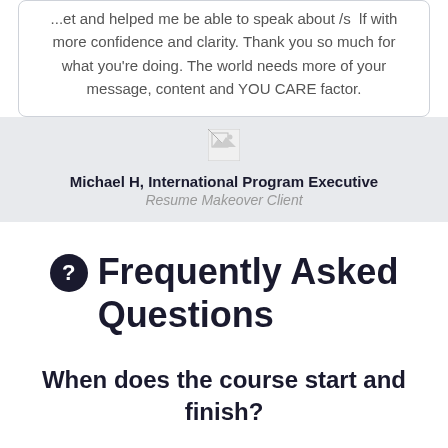...et and helped me be able to speak about myself with more confidence and clarity. Thank you so much for what you're doing. The world needs more of your message, content and YOU CARE factor.
[Figure (photo): Small broken/missing profile image placeholder]
Michael H, International Program Executive
Resume Makeover Client
Frequently Asked Questions
When does the course start and finish?